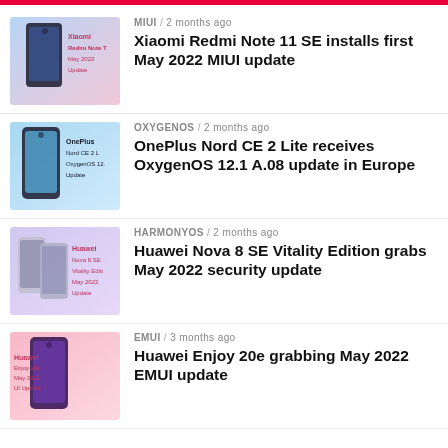[Figure (screenshot): Xiaomi Redmi Note T thumbnail with text: Xiaomi Redmi Note T, May 2022 Update]
MIUI / 2 months ago
Xiaomi Redmi Note 11 SE installs first May 2022 MIUI update
[Figure (screenshot): OnePlus Nord CE 2 Lite thumbnail with text: OnePlus Nord CE 2 L, OxygenOS 12., Update]
OXYGENOS / 2 months ago
OnePlus Nord CE 2 Lite receives OxygenOS 12.1 A.08 update in Europe
[Figure (screenshot): Huawei Nova 8 SE Vitality Edition thumbnail with text: Huawei Nova 8 SE, Vitality Editi, May 2022, Update]
HARMONYOS / 2 months ago
Huawei Nova 8 SE Vitality Edition grabs May 2022 security update
[Figure (screenshot): Huawei Enjoy 20e thumbnail with text: Huawei, Enjoy 20e, May 2022, UI Update]
EMUI / 3 months ago
Huawei Enjoy 20e grabbing May 2022 EMUI update